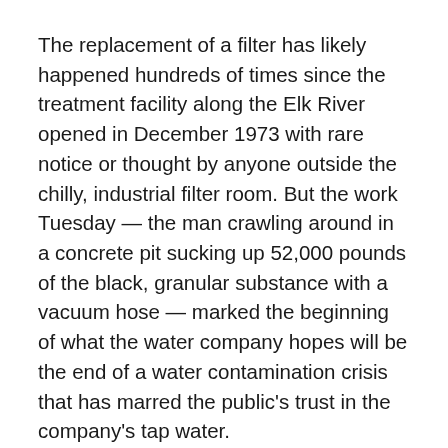The replacement of a filter has likely happened hundreds of times since the treatment facility along the Elk River opened in December 1973 with rare notice or thought by anyone outside the chilly, industrial filter room. But the work Tuesday — the man crawling around in a concrete pit sucking up 52,000 pounds of the black, granular substance with a vacuum hose — marked the beginning of what the water company hopes will be the end of a water contamination crisis that has marred the public's trust in the company's tap water.
“Within days of the Freedom Industries chemical spill, we committed to our customers and have continued to commit to our customers that we would be changing out the carbon caps in the filters just as